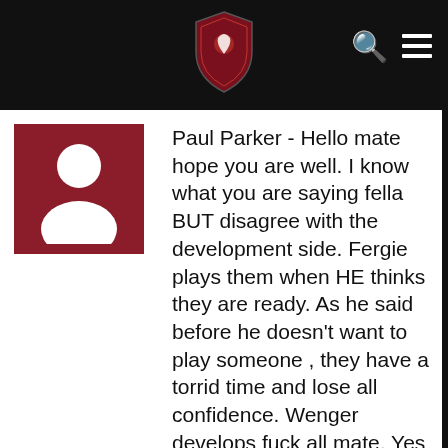[Figure (logo): Dark header bar with a red crest/shield logo in the center, a search icon (Q) and hamburger menu icon on the right]
[Figure (photo): Red square avatar with white silhouette of a person (default user avatar)]
Paul Parker - Hello mate hope you are well. I know what you are saying fella BUT disagree with the development side. Fergie plays them when HE thinks they are ready. As he said before he doesn't want to play someone , they have a torrid time and lose all confidence. Wenger develops fuck all mate. Yes he plays them young but how many REALLY kick on? Walcott is the same as he was at 17, Wilshire is picking up injury after injury. Many more examples but cant remember them!! No mate Fergie will play him when he thinks he is ready and not before. We have produced dozens and dozens more young players than Arsenal despite the media myth. Ok some of them